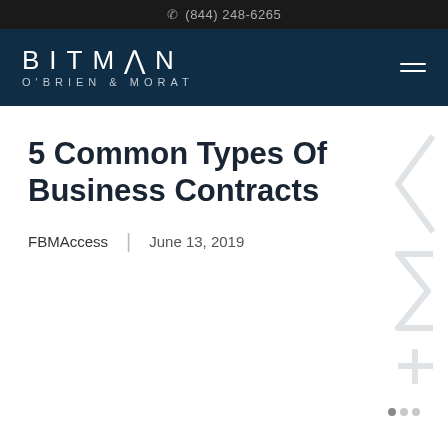(844) 248-6265
[Figure (logo): Bitman O'Brien & Morat law firm logo in white text on dark navy background, with hamburger menu icon]
5 Common Types Of Business Contracts
FBMAccess  |  June 13, 2019